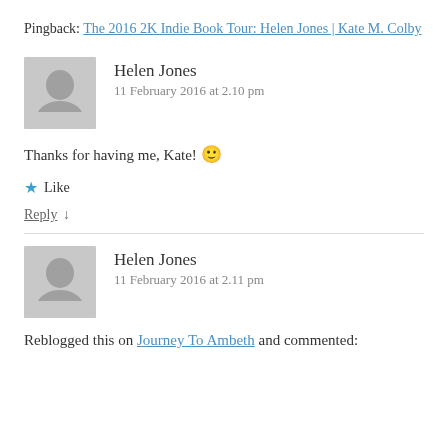Pingback: The 2016 2K Indie Book Tour: Helen Jones | Kate M. Colby
Helen Jones
11 February 2016 at 2.10 pm
Thanks for having me, Kate! 🙂
★ Like
Reply ↓
Helen Jones
11 February 2016 at 2.11 pm
Reblogged this on Journey To Ambeth and commented: